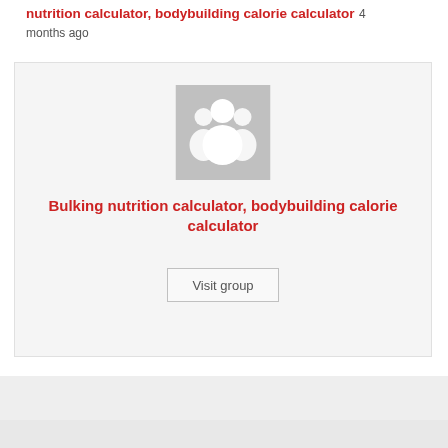nutrition calculator, bodybuilding calorie calculator 4 months ago
[Figure (illustration): Group placeholder icon showing two silhouettes on a gray square background]
Bulking nutrition calculator, bodybuilding calorie calculator
Visit group